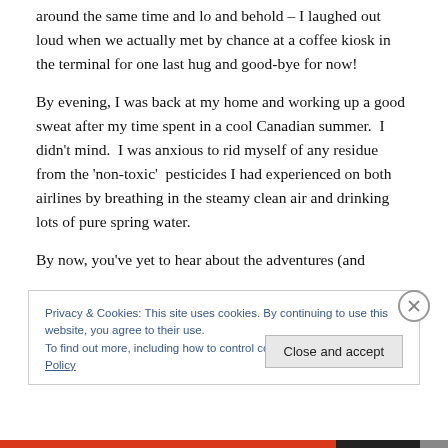around the same time and lo and behold – I laughed out loud when we actually met by chance at a coffee kiosk in the terminal for one last hug and good-bye for now!
By evening, I was back at my home and working up a good sweat after my time spent in a cool Canadian summer.  I didn't mind.  I was anxious to rid myself of any residue from the 'non-toxic'  pesticides I had experienced on both airlines by breathing in the steamy clean air and drinking lots of pure spring water.
By now, you've yet to hear about the adventures (and
Privacy & Cookies: This site uses cookies. By continuing to use this website, you agree to their use.
To find out more, including how to control cookies, see here: Cookie Policy